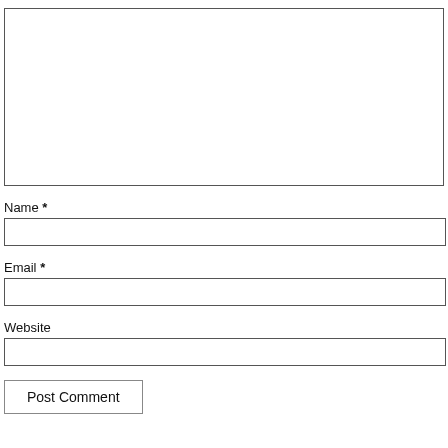[Figure (other): Large empty text area input box for comment entry]
Name *
[Figure (other): Single-line text input box for Name]
Email *
[Figure (other): Single-line text input box for Email]
Website
[Figure (other): Single-line text input box for Website]
Post Comment